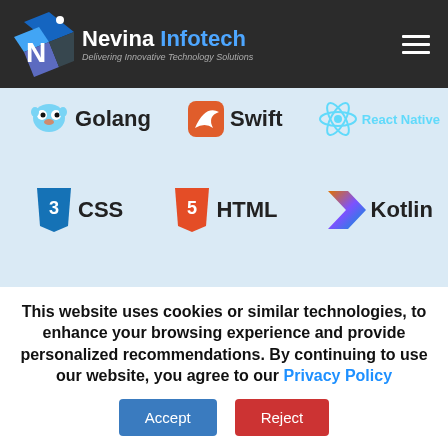Nevina Infotech – Delivering Innovative Technology Solutions
[Figure (logo): Golang logo with gopher mascot icon and text 'Golang']
[Figure (logo): Swift logo with orange bird icon and text 'Swift']
[Figure (logo): React Native logo with atom icon and text 'React Native']
[Figure (logo): CSS3 logo with blue shield and text 'CSS']
[Figure (logo): HTML5 logo with orange shield and text 'HTML']
[Figure (logo): Kotlin logo with K icon and text 'Kotlin']
This website uses cookies or similar technologies, to enhance your browsing experience and provide personalized recommendations. By continuing to use our website, you agree to our Privacy Policy
Accept | Reject